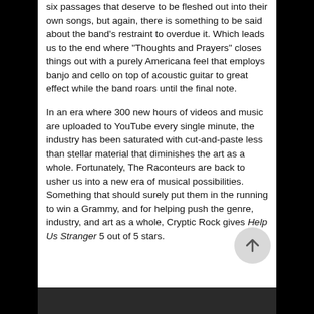six passages that deserve to be fleshed out into their own songs, but again, there is something to be said about the band's restraint to overdue it. Which leads us to the end where “Thoughts and Prayers” closes things out with a purely Americana feel that employs banjo and cello on top of acoustic guitar to great effect while the band roars until the final note.
In an era where 300 new hours of videos and music are uploaded to YouTube every single minute, the industry has been saturated with cut-and-paste less than stellar material that diminishes the art as a whole. Fortunately, The Raconteurs are back to usher us into a new era of musical possibilities. Something that should surely put them in the running to win a Grammy, and for helping push the genre, industry, and art as a whole, Cryptic Rock gives Help Us Stranger 5 out of 5 stars.
[Figure (photo): Dark photograph at the bottom of the page, partially visible]